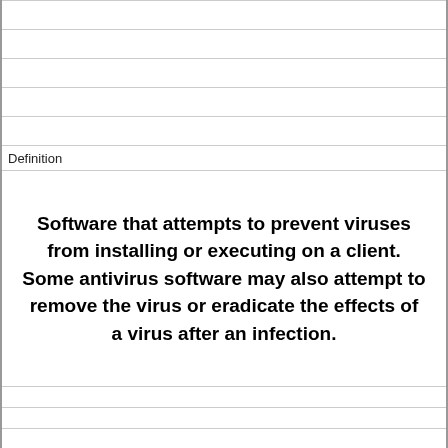| Definition |
| --- |
| Software that attempts to prevent viruses from installing or executing on a client. Some antivirus software may also attempt to remove the virus or eradicate the effects of a virus after an infection. |
| Term |
| --- |
| anycast |